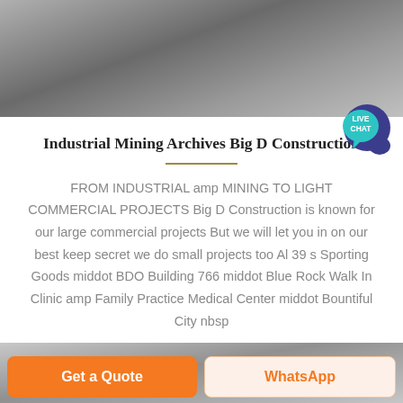[Figure (photo): Top photo of industrial/mining equipment, grey tones]
Industrial Mining Archives Big D Construction
FROM INDUSTRIAL amp MINING TO LIGHT COMMERCIAL PROJECTS Big D Construction is known for our large commercial projects But we will let you in on our best keep secret we do small projects too Al 39 s Sporting Goods middot BDO Building 766 middot Blue Rock Walk In Clinic amp Family Practice Medical Center middot Bountiful City nbsp
[Figure (photo): Bottom photo of industrial structure/scaffolding, grey tones]
Get a Quote
WhatsApp